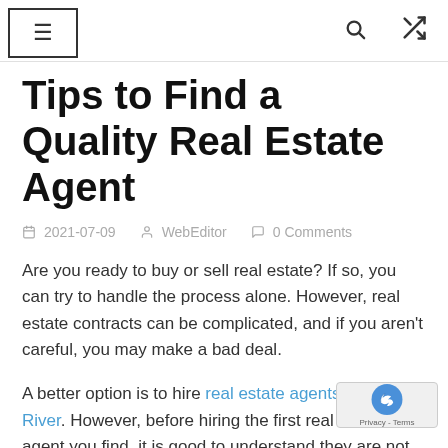≡  🔍  ⇄
Tips to Find a Quality Real Estate Agent
2021-07-09   WebEditor   0 Comments
Are you ready to buy or sell real estate? If so, you can try to handle the process alone. However, real estate contracts can be complicated, and if you aren't careful, you may make a bad deal.
A better option is to hire real estate agents Toms River. However, before hiring the first real estate agent you find, it is good to understand they are not all created equal. Because of this, you must consider your options and find the right person for your needs. Keep reading for some tips to